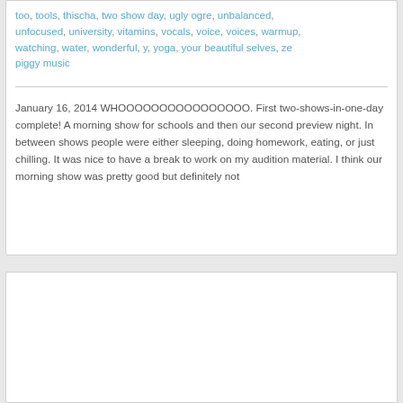too, tools, thischa, two show day, ugly ogre, unbalanced, unfocused, university, vitamins, vocals, voice, voices, warmup, watching, water, wonderful, y, yoga, your beautiful selves, ze piggy music
January 16, 2014 WHOOOOOOOOOOOOOOOO. First two-shows-in-one-day complete!  A morning show for schools and then our second preview night.  In between shows people were either sleeping, doing homework, eating, or just chilling.  It was nice to have a break to work on my audition material.  I think our morning show was pretty good but definitely not